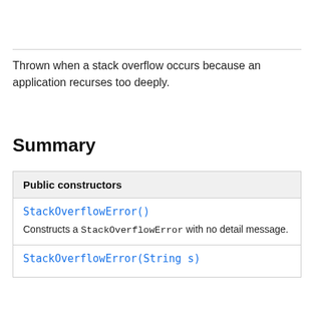Thrown when a stack overflow occurs because an application recurses too deeply.
Summary
| Public constructors |
| --- |
| StackOverflowError() | Constructs a StackOverflowError with no detail message. |
| StackOverflowError(String s) |  |